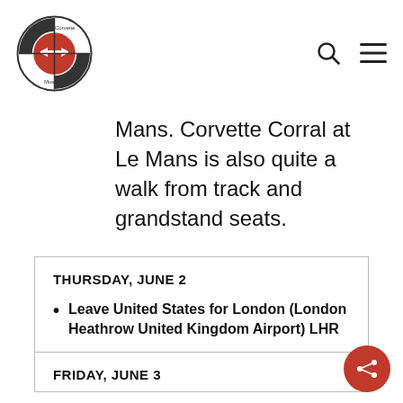[Figure (logo): National Corvette Museum circular logo with checkered pattern and Chevy bowtie emblem]
Mans. Corvette Corral at Le Mans is also quite a walk from track and grandstand seats.
| THURSDAY, JUNE 2 | Leave United States for London (London Heathrow United Kingdom Airport) LHR |
| FRIDAY, JUNE 3 |  |